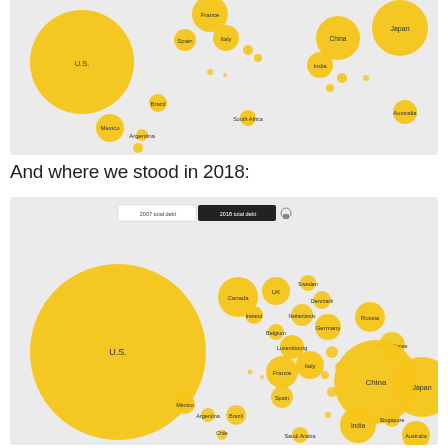[Figure (bubble-chart): Bubble chart showing 2007 total debt by country. Large yellow bubble for U.S. on left, large bubble for Japan top right, China top right, with many other countries as smaller bubbles. Countries include Mexico, Brazil, Argentina, France, Spain, Italy, India, South Africa, Australia, Saudi Arabia, and others.]
And where we stood in 2018:
[Figure (bubble-chart): Bubble chart showing 2018 total debt by country. Toggle shows '2007 total debt' and '2018 total debt' buttons. Very large yellow bubble for U.S. on left, large bubbles for China and Japan on right, with many other countries as smaller bubbles. Countries include Canada, UK, France, Italy, Spain, Germany, Ireland, Belgium, Luxembourg, Netherlands, Denmark, Sweden, Russia, South Korea, India, Singapore, Mexico, Argentina, Brazil, Chile, Saudi Arabia, Australia, and others.]